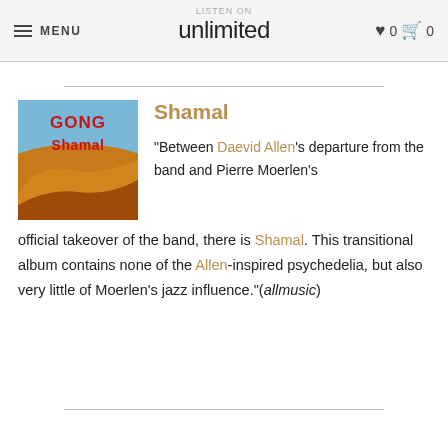MENU | unlimited | 0 0
Shamal
[Figure (illustration): Album cover for Gong - Shamal. Blue sky background with sand dunes in orange and brown tones. Red GONG and Shamal text logo at top.]
"Between Daevid Allen's departure from the band and Pierre Moerlen's official takeover of the band, there is Shamal. This transitional album contains none of the Allen-inspired psychedelia, but also very little of Moerlen's jazz influence."(allmusic)